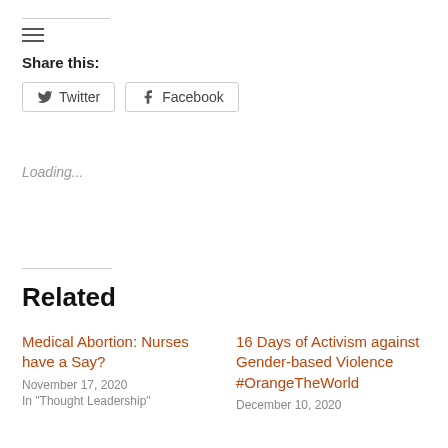Share this:
Twitter   Facebook
Loading...
Related
Medical Abortion: Nurses have a Say?
November 17, 2020
In "Thought Leadership"
16 Days of Activism against Gender-based Violence #OrangeTheWorld
December 10, 2020